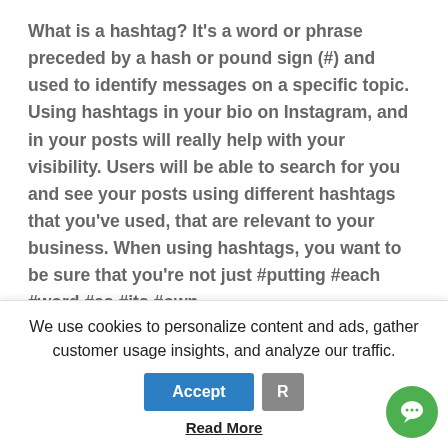What is a hashtag? It's a word or phrase preceded by a hash or pound sign (#) and used to identify messages on a specific topic. Using hashtags in your bio on Instagram, and in your posts will really help with your visibility. Users will be able to search for you and see your posts using different hashtags that you've used, that are relevant to your business. When using hashtags, you want to be sure that you're not just #putting #each #word #as #its #own
We use cookies to personalize content and ads, gather customer usage insights, and analyze our traffic.
Read More